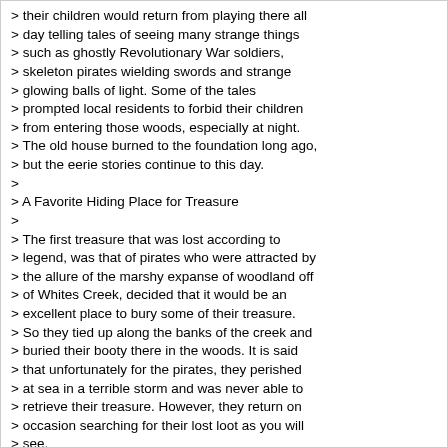> their children would return from playing there all
> day telling tales of seeing many strange things
> such as ghostly Revolutionary War soldiers,
> skeleton pirates wielding swords and strange
> glowing balls of light. Some of the tales
> prompted local residents to forbid their children
> from entering those woods, especially at night.
> The old house burned to the foundation long ago,
> but the eerie stories continue to this day.
>
> A Favorite Hiding Place for Treasure
>
> The first treasure that was lost according to
> legend, was that of pirates who were attracted by
> the allure of the marshy expanse of woodland off
> of Whites Creek, decided that it would be an
> excellent place to bury some of their treasure.
> So they tied up along the banks of the creek and
> buried their booty there in the woods. It is said
> that unfortunately for the pirates, they perished
> at sea in a terrible storm and was never able to
> retrieve their treasure. However, they return on
> occasion searching for their lost loot as you will
> see.
>
> In 1651 after the Battle of Worcester in England,
> Charles II fled Europe and headed for Jamestown in
> the new found territories in America to hide.
> After a fierce storm, his treasure ship mistakenly
> ended up in the Whites Creek. Deciding to hide
> Charles' treasures there for safe keeping in that
> remote stretch of forest, they began unloading the